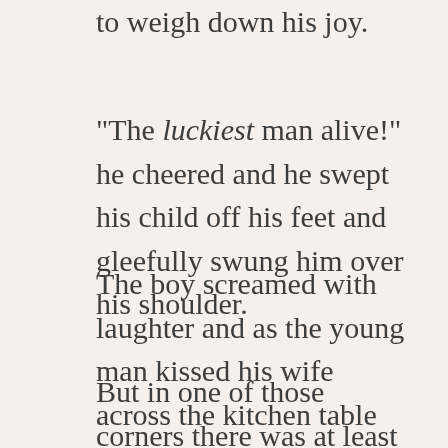to weigh down his joy.
“The luckiest man alive!” he cheered and he swept his child off his feet and gleefully swung him over his shoulder.
The boy screamed with laughter and as the young man kissed his wife across the kitchen table there truly wasn’t a happier little place to be found in all the corners of the world.
But in one of those corners there was at least considerable happiness as well, because there a genie slept peacefully inside his snug bottle,